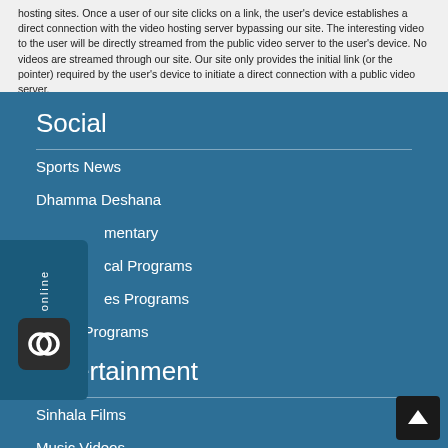hosting sites. Once a user of our site clicks on a link, the user's device establishes a direct connection with the video hosting server bypassing our site. The interesting video to the user will be directly streamed from the public video server to the user's device. No videos are streamed through our site. Our site only provides the initial link (or the pointer) required by the user's device to initiate a direct connection with a public video server.
Social
Sports News
Dhamma Deshana
Documentary
Local Programs
Ladies Programs
Health Programs
Entertainment
Sinhala Films
Music Videos
[Figure (other): Sidebar widget with 'online' text rotated vertically and an icon with overlapping circles]
[Figure (other): Back to top button, dark square with upward arrow]